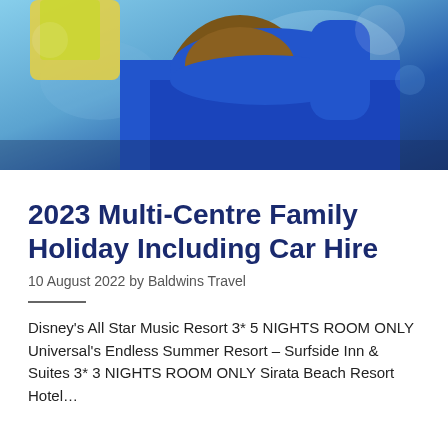[Figure (photo): Close-up photo of a boy in a blue hoodie, partial face visible from chin down, holding something colourful (yellow/green), bright background]
2023 Multi-Centre Family Holiday Including Car Hire
10 August 2022 by Baldwins Travel
Disney’s All Star Music Resort 3* 5 NIGHTS ROOM ONLY   Universal’s Endless Summer Resort – Surfside Inn & Suites 3* 3 NIGHTS ROOM ONLY Sirata Beach Resort Hotel…